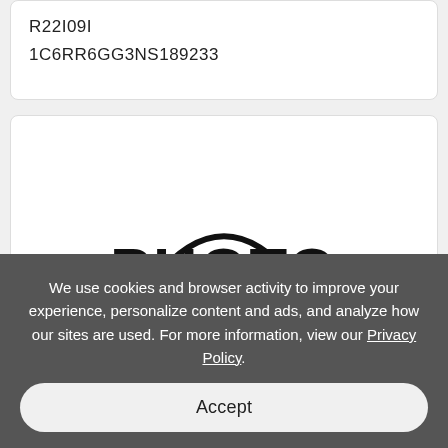R22I09I
1C6RR6GG3NS189233
[Figure (logo): A circular logo/stamp design showing the word PHOTO in bold black letters at the top with an arc above it, and a retro camera illustration below. Two small bullet dots appear on the left and right sides.]
We use cookies and browser activity to improve your experience, personalize content and ads, and analyze how our sites are used. For more information, view our Privacy Policy.
Accept